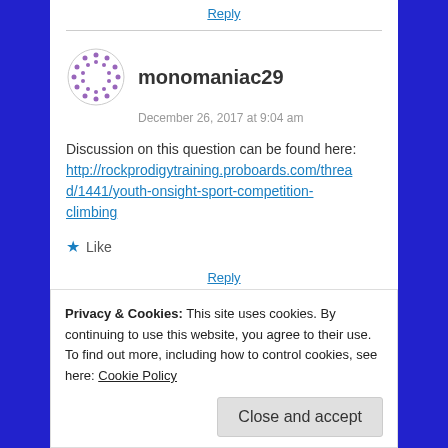Reply
monomaniac29
December 26, 2017 at 9:04 am
Discussion on this question can be found here:
http://rockprodigytraining.proboards.com/thread/1441/youth-onsight-sport-competition-climbing
Like
Reply
Privacy & Cookies: This site uses cookies. By continuing to use this website, you agree to their use.
To find out more, including how to control cookies, see here: Cookie Policy
Close and accept